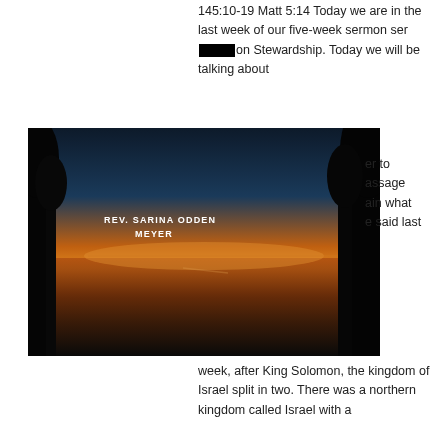145:10-19 Matt 5:14 Today we are in the last week of our five-week sermon series on Stewardship. Today we will be talking about
[Figure (photo): Sunset over a body of water with tree silhouettes on the left side. Text overlay reads: REV. SARINA ODDEN MEYER]
...er to ...assage ...ain what ...e said last week, after King Solomon, the kingdom of Israel split in two. There was a northern kingdom called Israel with a
0   0
Rev. Sarina Odden Meyer • Nov 12, 2018 • 8 min
Stewardship: Compassion (Elisha & Naaman)
[Figure (infographic): Social media icons bar: Facebook, Instagram, Twitter]